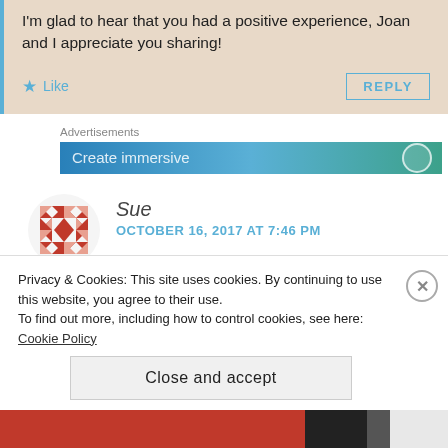I'm glad to hear that you had a positive experience, Joan and I appreciate you sharing!
Like
REPLY
Advertisements
[Figure (screenshot): Blue-green gradient advertisement banner with text 'Create immersive' partially visible]
Sue
OCTOBER 16, 2017 AT 7:46 PM
Privacy & Cookies: This site uses cookies. By continuing to use this website, you agree to their use.
To find out more, including how to control cookies, see here: Cookie Policy
Close and accept